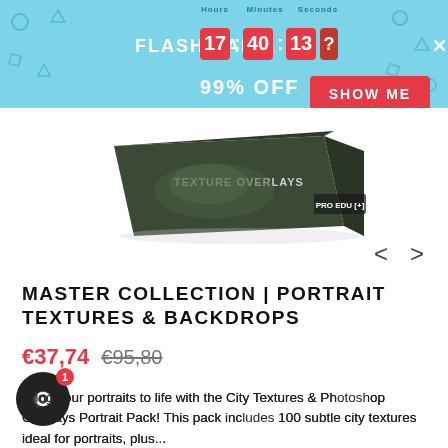[Figure (screenshot): Flash sale banner with countdown timer showing 17:40:13, 99% OFF text, and SHOW ME red button on light blue background]
[Figure (photo): Product box for Texture Overlays by PRO EDU, dark box with foliage imagery, shown in perspective view]
MASTER COLLECTION | PORTRAIT TEXTURES & BACKDROPS
€37,74  €95,80
Bring your portraits to life with the City Textures & Photoshop Overlays Portrait Pack! This pack includes 100 subtle city textures ideal for portraits, plus...